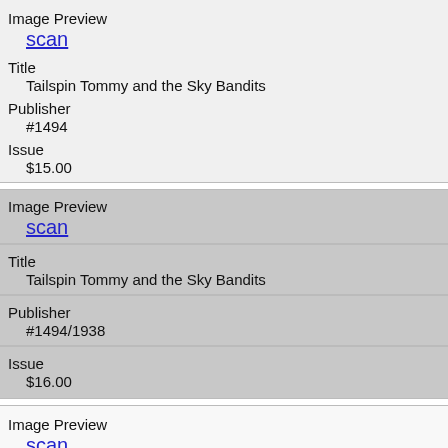Image Preview
scan
Title
Tailspin Tommy and the Sky Bandits
Publisher
#1494
Issue
$15.00
Image Preview
scan
Title
Tailspin Tommy and the Sky Bandits
Publisher
#1494/1938
Issue
$16.00
Image Preview
scan
Title
Tarzan: Mark of the Red Hyena